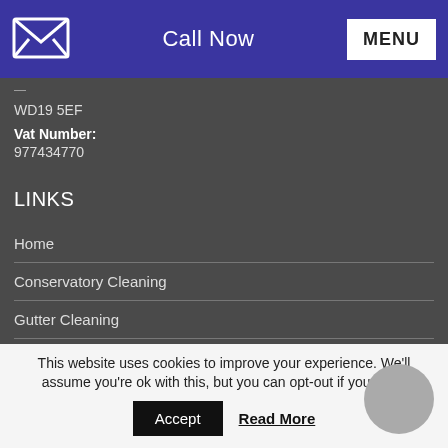Call Now | MENU
WD19 5EF
Vat Number:
977434770
LINKS
Home
Conservatory Cleaning
Gutter Cleaning
Privacy Notice
Pure Water System
Skylights Velux Windows
This website uses cookies to improve your experience. We'll assume you're ok with this, but you can opt-out if you wish.
Accept  Read More